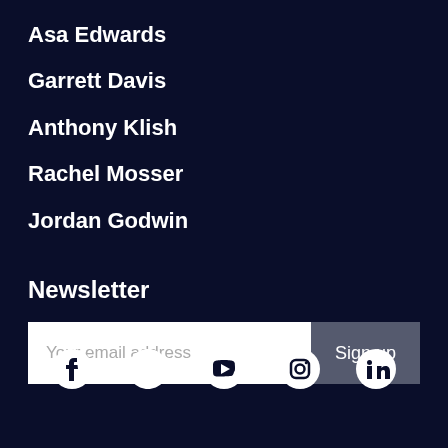Asa Edwards
Garrett Davis
Anthony Klish
Rachel Mosser
Jordan Godwin
Newsletter
Your email address | Sign up
[Figure (illustration): Social media icons: Facebook, Twitter, YouTube, Instagram, LinkedIn]